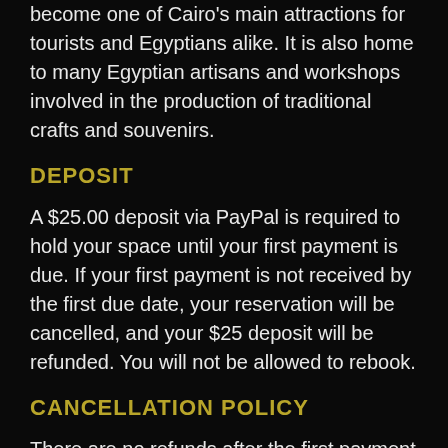become one of Cairo's main attractions for tourists and Egyptians alike. It is also home to many Egyptian artisans and workshops involved in the production of traditional crafts and souvenirs.
DEPOSIT
A $25.00 deposit via PayPal is required to hold your space until your first payment is due. If your first payment is not received by the first due date, your reservation will be cancelled, and your $25 deposit will be refunded. You will not be allowed to rebook.
CANCELLATION POLICY
There are no refunds after the first payment has been made. Payments are made and required to hold your space until the day of departure and arrival. To review the terms, conditions and